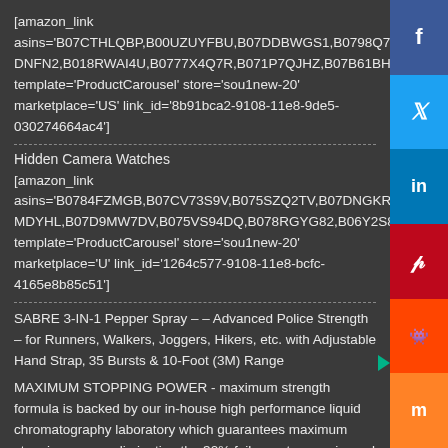[amazon_link asins='B07CTHLQBP,B00UZUYFBU,B07DDBWGS1,B0798Q7ZJL,B077MDNFN2,B018RWAI4U,B0777X4Q7R,B071P7QJHZ,B07B61BHY9' template='ProductCarousel' store='sou1new-20' marketplace='US' link_id='8b91bca2-9108-11e8-9de5-030274664ac4']
Hidden Camera Watches
[amazon_link asins='B0784FZMGB,B07CV73S9V,B075SZQ2TV,B07DNGKRBQ,B07MDYHL,B07D9MW7DV,B075VS94DQ,B078RGYG82,B06Y2S86BQ' template='ProductCarousel' store='sou1new-20' marketplace='US' link_id='1264c577-9108-11e8-bcfc-4165e8b85c51']
SABRE 3-IN-1 Pepper Spray – – Advanced Police Strength – for Runners, Walkers, Joggers, Hikers, etc. with Adjustable Hand Strap, 35 Bursts & 10-Foot (3M) Range
MAXIMUM STOPPING POWER - maximum strength formula is backed by our in-house high performance liquid chromatography laboratory which guarantees maximum stopping power, eliminating the 30% failure rate experienced with other brands (University of Utah study); 3-IN-1 pepper spray formula includes CS tear gas for enhanced facial burning and UV marking dye to aid in suspect [...]